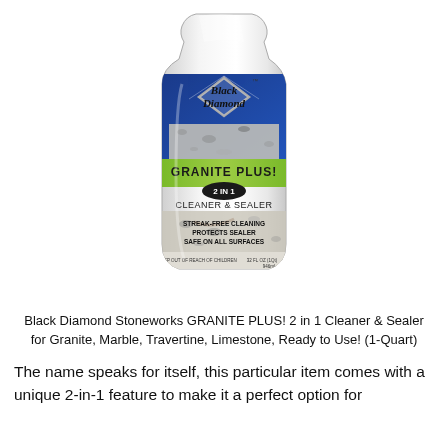[Figure (photo): A white plastic bottle of Black Diamond Stoneworks GRANITE PLUS! 2 in 1 Cleaner & Sealer. The bottle has a blue and green label with a diamond logo, granite texture background. Label reads: GRANITE PLUS! 2 IN 1 CLEANER & SEALER, STREAK-FREE CLEANING, PROTECTS SEALER, SAFE ON ALL SURFACES, 32 FL OZ (1Qt) 946ml.]
Black Diamond Stoneworks GRANITE PLUS! 2 in 1 Cleaner & Sealer for Granite, Marble, Travertine, Limestone, Ready to Use! (1-Quart)
The name speaks for itself, this particular item comes with a unique 2-in-1 feature to make it a perfect option for